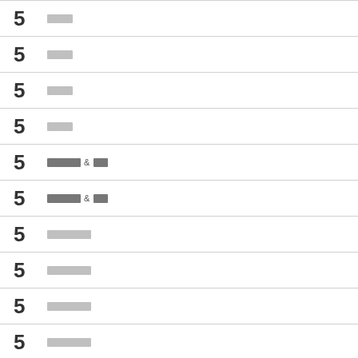5 ████
5 ████
5 ████
5 ████
5 █████ & ██
5 █████ & ██
5 ███████
5 ███████
5 ███████
5 ███████